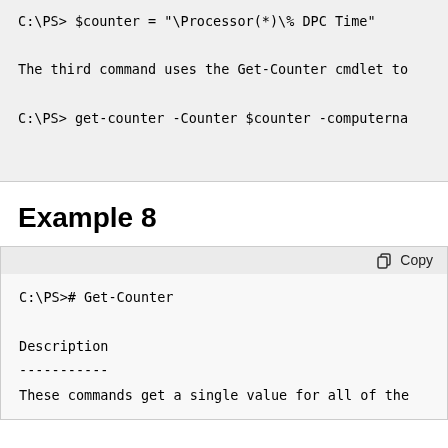C:\PS> $counter = "\Processor(*)\% DPC Time"

The third command uses the Get-Counter cmdlet to...

C:\PS> get-counter -Counter $counter -computerna...
Example 8
Copy
C:\PS># Get-Counter

Description
-----------
These commands get a single value for all of the...